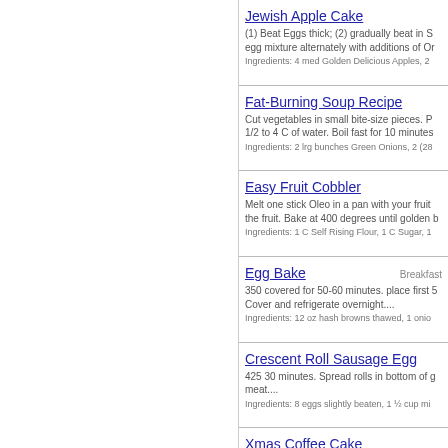Jewish Apple Cake — (1) Beat Eggs thick; (2) gradually beat in S egg mixture alternately with additions of Or Ingredients: 4 med Golden Delicious Apples, 2
Fat-Burning Soup Recipe — Cut vegetables in small bite-size pieces. P 1/2 to 4 C of water. Boil fast for 10 minutes Ingredients: 2 lrg bunches Green Onions, 2 (28
Easy Fruit Cobbler — Melt one stick Oleo in a pan with your fruit the fruit. Bake at 400 degrees until golden b Ingredients: 1 C Self Rising Flour, 1 C Sugar, 1
Egg Bake [Breakfast] — 350 covered for 50-60 minutes. place first 5 Cover and refrigerate overnight.... Ingredients: 12 oz hash browns thawed, 1 onio
Crescent Roll Sausage Egg — 425 30 minutes. Spread rolls in bottom of g meat.... Ingredients: 8 eggs slightly beaten, 1 ½ cup mi
Xmas Coffee Cake — 350 1 hour, until golden brown. Mix above t butter, let rise again. ... Ingredients: 2 eggs, beaten, 2 cups warm water,